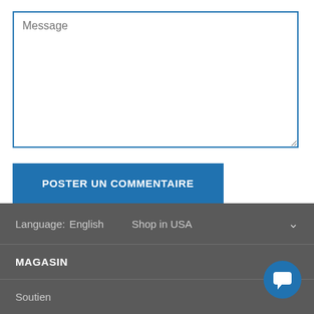[Figure (screenshot): Message text area input field with blue border and placeholder text 'Message']
POSTER UN COMMENTAIRE
Language: English    Shop in USA
MAGASIN
Soutien